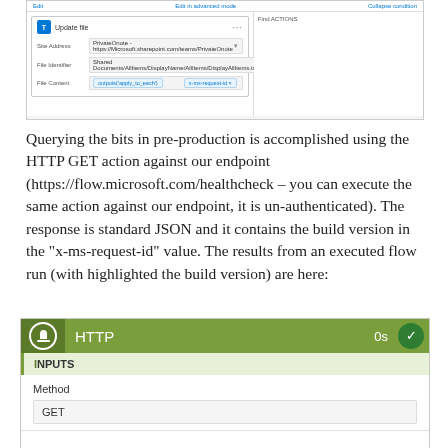[Figure (screenshot): SharePoint/Power Automate UI screenshot showing an action card with fields for Site Address, File Identifier, and File Content, with a right panel labeled 'Find actions'.]
Querying the bits in pre-production is accomplished using the HTTP GET action against our endpoint (https://flow.microsoft.com/healthcheck – you can execute the same action against our endpoint, it is un-authenticated). The response is standard JSON and it contains the build version in the "x-ms-request-id" value. The results from an executed flow run (with highlighted the build version) are here:
[Figure (screenshot): Power Automate HTTP action card showing INPUTS section with Method field set to GET.]